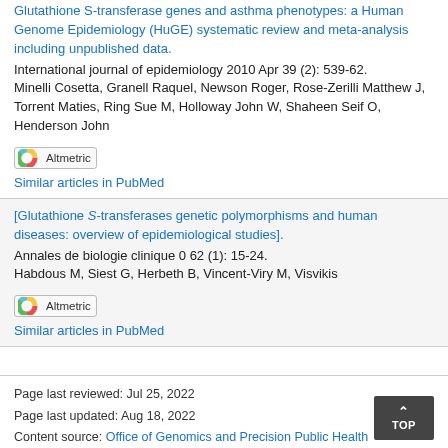Glutathione S-transferase genes and asthma phenotypes: a Human Genome Epidemiology (HuGE) systematic review and meta-analysis including unpublished data.
International journal of epidemiology 2010 Apr 39 (2): 539-62. Minelli Cosetta, Granell Raquel, Newson Roger, Rose-Zerilli Matthew J, Torrent Maties, Ring Sue M, Holloway John W, Shaheen Seif O, Henderson John
[Figure (logo): Altmetric badge with colorful donut icon]
Similar articles in PubMed
[Glutathione S-transferases genetic polymorphisms and human diseases: overview of epidemiological studies].
Annales de biologie clinique 0 62 (1): 15-24. Habdous M, Siest G, Herbeth B, Vincent-Viry M, Visvikis
[Figure (logo): Altmetric badge with colorful donut icon]
Similar articles in PubMed
Page last reviewed: Jul 25, 2022
Page last updated: Aug 18, 2022
Content source: Office of Genomics and Precision Public Health